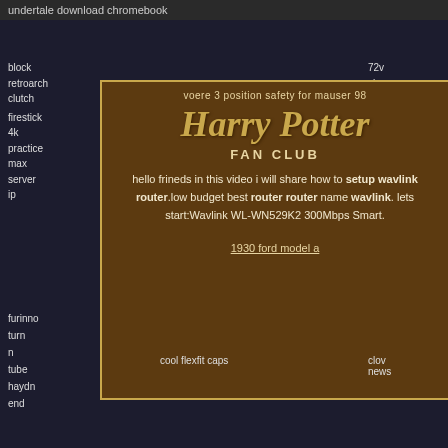undertale download chromebook
block
retroarch
clutch
firestick
4k
practice
max
server
ip
72v
sims
motor
controller
cc
hunt
[Figure (infographic): Harry Potter Fan Club themed brown panel with gold border and corner decorations. Contains subtitle 'voere 3 position safety for mauser 98', Harry Potter logo in gold italic serif, 'FAN CLUB' text, body text about wavlink router setup, and a link '1930 ford model a'.]
furinno
turn
n
tube
haydn
end
cool flexfit caps
clov
news